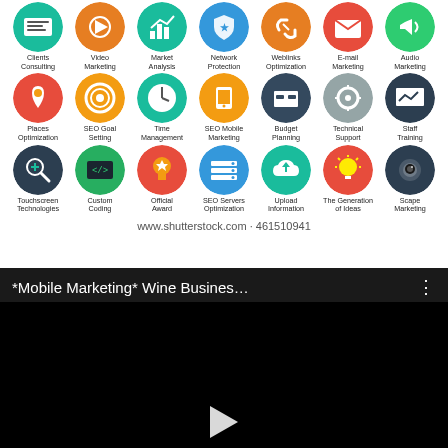[Figure (infographic): Grid of 21 colorful circular icons representing digital marketing services: Clients Consulting, Video Marketing, Market Analysis, Network Protection, Weblinks Optimization, E-mail Marketing, Audio Marketing (row 1); Places Optimization, SEO Goal Setting, Time Management, SEO Mobile Marketing, Budget Planning, Technical Support, Staff Training (row 2); Touchscreen Technologies, Custom Coding, Official Award, SEO Servers Optimization, Upload Information, The Generation of Ideas, Scape Marketing (row 3). Watermark: www.shutterstock.com · 461510941]
[Figure (screenshot): Video player screenshot with dark/black background. Title bar shows '*Mobile Marketing* Wine Busines...' with three-dot menu icon. Large black area with a play button triangle at the bottom center.]